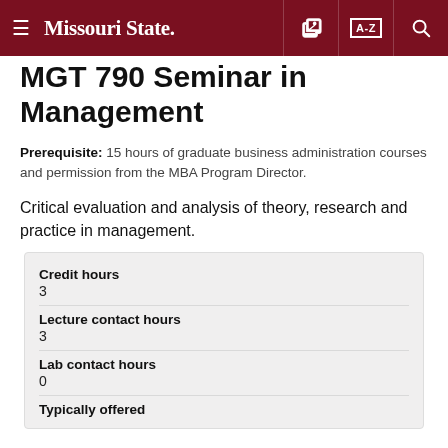Missouri State
MGT 790 Seminar in Management
Prerequisite: 15 hours of graduate business administration courses and permission from the MBA Program Director.
Critical evaluation and analysis of theory, research and practice in management.
| Field | Value |
| --- | --- |
| Credit hours | 3 |
| Lecture contact hours | 3 |
| Lab contact hours | 0 |
| Typically offered |  |